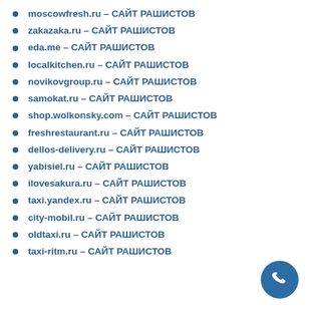moscowfresh.ru – САЙТ РАШИСТОВ
zakazaka.ru – САЙТ РАШИСТОВ
eda.me – САЙТ РАШИСТОВ
localkitchen.ru – САЙТ РАШИСТОВ
novikovgroup.ru – САЙТ РАШИСТОВ
samokat.ru – САЙТ РАШИСТОВ
shop.wolkonsky.com – САЙТ РАШИСТОВ
freshrestaurant.ru – САЙТ РАШИСТОВ
dellos-delivery.ru – САЙТ РАШИСТОВ
yabisiel.ru – САЙТ РАШИСТОВ
ilovesakura.ru – САЙТ РАШИСТОВ
taxi.yandex.ru – САЙТ РАШИСТОВ
city-mobil.ru – САЙТ РАШИСТОВ
oldtaxi.ru – САЙТ РАШИСТОВ
taxi-ritm.ru – САЙТ РАШИСТОВ